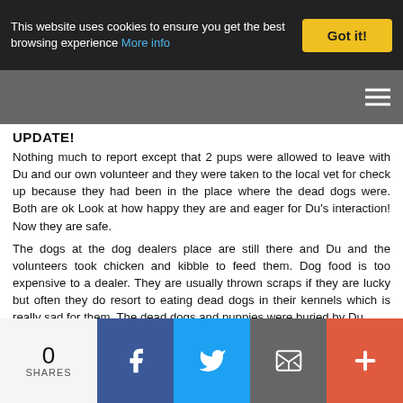This website uses cookies to ensure you get the best browsing experience More info | Got it!
UPDATE!
Nothing much to report except that 2 pups were allowed to leave with Du and our own volunteer and they were taken to the local vet for check up because they had been in the place where the dead dogs were. Both are ok Look at how happy they are and eager for Du's interaction! Now they are safe.
The dogs at the dog dealers place are still there and Du and the volunteers took chicken and kibble to feed them. Dog food is too expensive to a dealer. They are usually thrown scraps if they are lucky but often they do resort to eating dead dogs in their kennels which is really sad for them. The dead dogs and puppies were buried by Du.
Thanks to everyone for your donations which are paying for the nourishing food and vet bills, vaccinations and medications. We couldn't help dogs without you
0 SHARES | Facebook | Twitter | Email | More